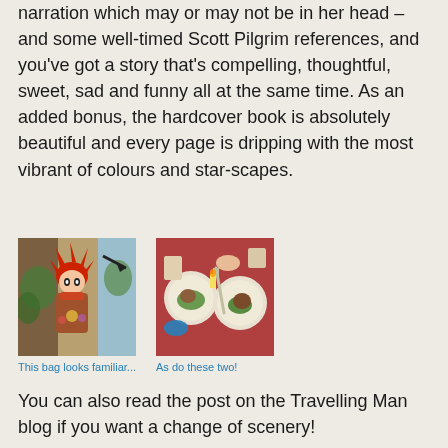narration which may or may not be in her head – and some well-timed Scott Pilgrim references, and you've got a story that's compelling, thoughtful, sweet, sad and funny all at the same time. As an added bonus, the hardcover book is absolutely beautiful and every page is dripping with the most vibrant of colours and star-scapes.
[Figure (illustration): Manga-style illustration of a character with red spiky hair holding a bag, colourful background with plants and patterns]
This bag looks familiar...
[Figure (illustration): Colourful top-down illustration of two people dining, plates of food visible on a reddish-brown table]
As do these two!
You can also read the post on the Travelling Man blog if you want a change of scenery!